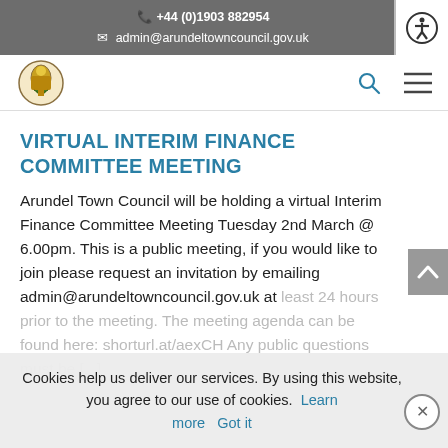+44 (0)1903 882954
admin@arundeltowncouncil.gov.uk
[Figure (logo): Arundel Town Council coat of arms logo]
VIRTUAL INTERIM FINANCE COMMITTEE MEETING
Arundel Town Council will be holding a virtual Interim Finance Committee Meeting Tuesday 2nd March @ 6.00pm. This is a public meeting, if you would like to join please request an invitation by emailing admin@arundeltowncouncil.gov.uk at least 24 hours prior to the meeting. The meeting agenda can be found here: shorturl.at/aexCH Any public questions must be [...]
Cookies help us deliver our services. By using this website, you agree to our use of cookies. Learn more Got it